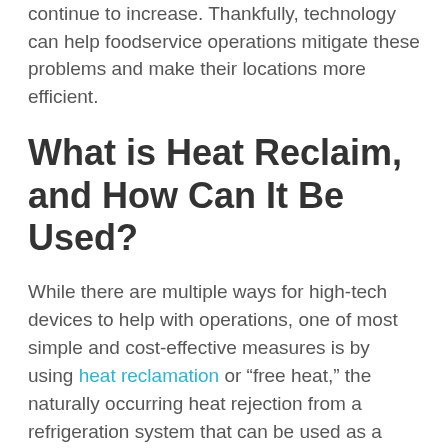continue to increase. Thankfully, technology can help foodservice operations mitigate these problems and make their locations more efficient.
What is Heat Reclaim, and How Can It Be Used?
While there are multiple ways for high-tech devices to help with operations, one of most simple and cost-effective measures is by using heat reclamation or “free heat,” the naturally occurring heat rejection from a refrigeration system that can be used as a heating medium. By adding a heat exchanger to a refrigeration system, we’re able